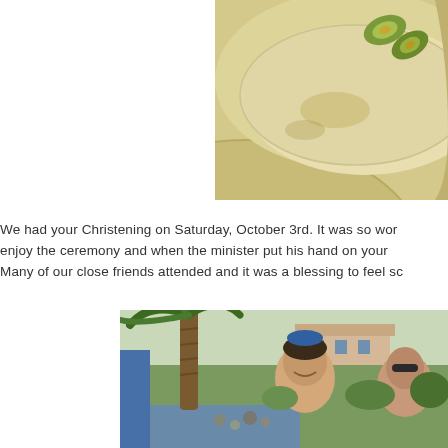[Figure (photo): Close-up photo of a plate with creamy food and green garnish (avocado slices), showing the curved edge of the plate against a beige/tan background.]
We had your Christening on Saturday, October 3rd. It was so wor enjoy the ceremony and when the minister put his hand on your Many of our close friends attended and it was a blessing to feel sc
[Figure (photo): Outdoor photo of a man and woman smiling near a palm tree, with a house, garden, and waterway visible in the background.]